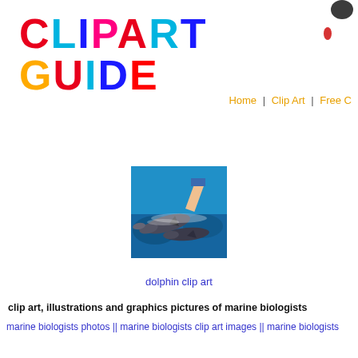CLIPART GUIDE
[Figure (logo): Ink splat graphic in top right corner]
Home | Clip Art | Free C...
[Figure (photo): Photo of dolphins in water with a person feeding them]
dolphin clip art
clip art, illustrations and graphics pictures of marine biologists
marine biologists photos || marine biologists clip art images || marine biologists